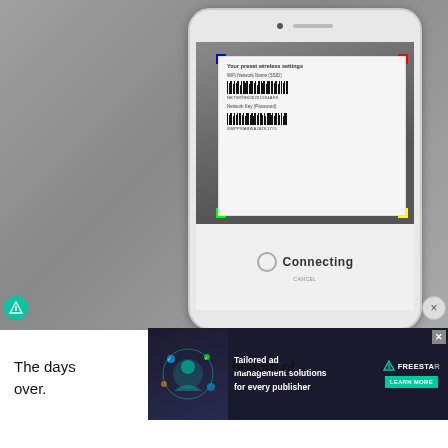[Figure (screenshot): Smartphone screen showing a WiFi barcode scanning app. The screen displays a white label card with 'Your preset wireless settings', WiFi Network Name (SSID) barcode labeled 'NETWORK06201994ARK', and Network Key (Password) barcode labeled 'SWPPSMBWAJ8ZK17#5'. The bottom of the screen shows a 'Connecting' status with a circular spinner. There is a green Freesta icon at bottom left and a dismiss X button at bottom right.]
[Figure (screenshot): Partial advertisement banner for Freestar: 'Tailored ad management solutions for every publisher' with a Learn More button and Freestar logo, overlaid on the page.]
The days … bottom of over.